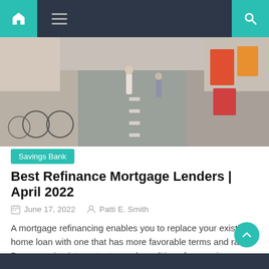Navigation bar with home icon, hamburger menu, and search icon
[Figure (photo): Street scene with bicycles and pedestrians on a shopping street in Japan]
Savings Bank
Best Refinance Mortgage Lenders | April 2022
June 17, 2022   Patti E. Smith
A mortgage refinancing enables you to replace your existing home loan with one that has more favorable terms and rates. By comparing interest rates and conditions from various lenders, you may potentially save thousands of dollars in interest over the life of the loan, pay off your mortgage sooner, or lower your monthly payment Louisiana [...]